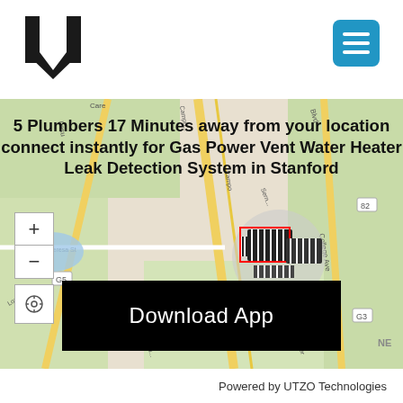[Figure (logo): UTZO U-shaped logo in black]
[Figure (screenshot): Navigation menu hamburger button, blue rounded square with three white horizontal lines]
[Figure (map): Street map of Stanford area showing Campus Dr, Santa Teresa St, Loma Dr, College Ave, with building markers and map controls (+/-/target). A circular marker with hatched pattern is visible in the center of the map.]
5 Plumbers 17 Minutes away from your location connect instantly for Gas Power Vent Water Heater Leak Detection System in Stanford
Download App
Powered by UTZO Technologies